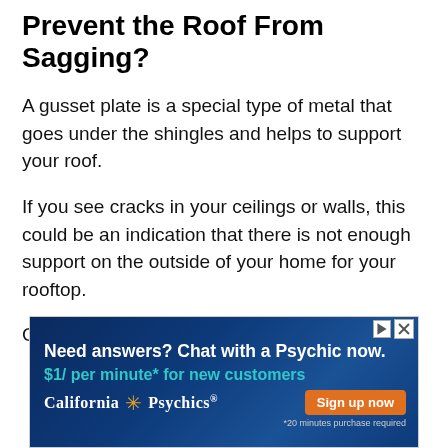Prevent the Roof From Sagging?
A gusset plate is a special type of metal that goes under the shingles and helps to support your roof.
If you see cracks in your ceilings or walls, this could be an indication that there is not enough support on the outside of your home for your rooftop.
Gusset plates can add extra strength to roofs
[Figure (infographic): Advertisement banner for California Psychics. Dark blue gradient background. Text: 'Need answers? Chat with a Psychic now.' '$1/ per minute* for new customers' with California Psychics logo and orange 'Sign up now' button. Disclaimer: '*20 minutes purchase required']